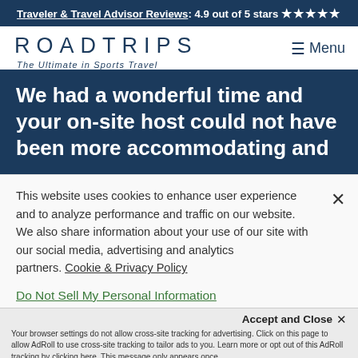Traveler & Travel Advisor Reviews: 4.9 out of 5 stars ★★★★★
[Figure (logo): ROADTRIPS logo with tagline 'The Ultimate in Sports Travel']
≡ Menu
We had a wonderful time and your on-site host could not have been more accommodating and
This website uses cookies to enhance user experience and to analyze performance and traffic on our website. We also share information about your use of our site with our social media, advertising and analytics partners. Cookie & Privacy Policy
Do Not Sell My Personal Information
Accept and Close ✕
Your browser settings do not allow cross-site tracking for advertising. Click on this page to allow AdRoll to use cross-site tracking to tailor ads to you. Learn more or opt out of this AdRoll tracking by clicking here. This message only appears once.